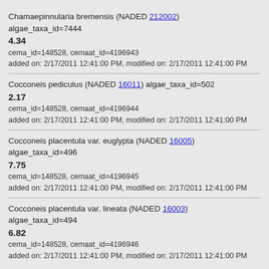Chamaepinnularia bremensis (NADED 212002) algae_taxa_id=7444
4.34
cema_id=148528, cemaat_id=4196943
added on: 2/17/2011 12:41:00 PM, modified on: 2/17/2011 12:41:00 PM
Cocconeis pediculus (NADED 16011) algae_taxa_id=502
2.17
cema_id=148528, cemaat_id=4196944
added on: 2/17/2011 12:41:00 PM, modified on: 2/17/2011 12:41:00 PM
Cocconeis placentula var. euglypta (NADED 16005) algae_taxa_id=496
7.75
cema_id=148528, cemaat_id=4196945
added on: 2/17/2011 12:41:00 PM, modified on: 2/17/2011 12:41:00 PM
Cocconeis placentula var. lineata (NADED 16003) algae_taxa_id=494
6.82
cema_id=148528, cemaat_id=4196946
added on: 2/17/2011 12:41:00 PM, modified on: 2/17/2011 12:41:00 PM